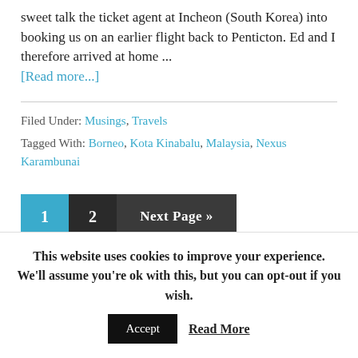sweet talk the ticket agent at Incheon (South Korea) into booking us on an earlier flight back to Penticton. Ed and I therefore arrived at home ...
[Read more...]
Filed Under: Musings, Travels
Tagged With: Borneo, Kota Kinabalu, Malaysia, Nexus Karambunai
1  2  Next Page »
This website uses cookies to improve your experience. We'll assume you're ok with this, but you can opt-out if you wish.  Accept  Read More